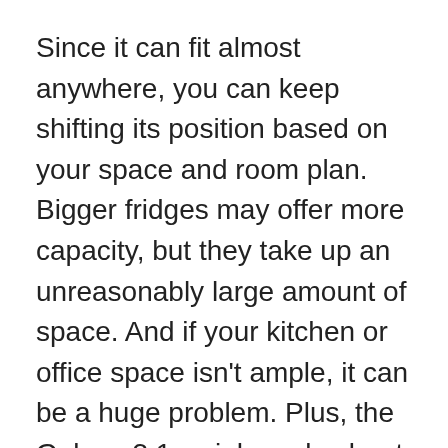Since it can fit almost anywhere, you can keep shifting its position based on your space and room plan. Bigger fridges may offer more capacity, but they take up an unreasonably large amount of space. And if your kitchen or office space isn't ample, it can be a huge problem. Plus, the Galanz 3.1 weighs only about 58 pounds. So, it's one of the most light-weight refrigerators around, given its dimensions.
The size is another reason why I'm planning to use it for my recreational room. It doesn't hog space but still offers enough storage for a few cold ones, snacks, and fresh fruits. Make sure you measure the intended space in your kitchen or room before shopping for fridges. Knowing the dimensions will